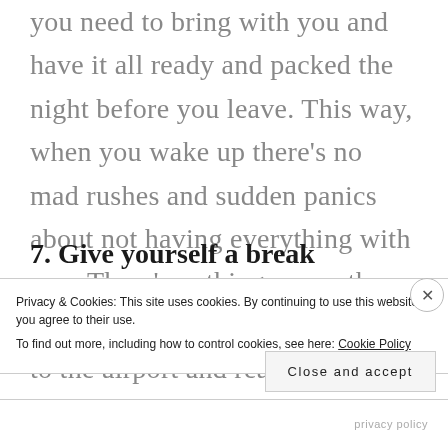you need to bring with you and have it all ready and packed the night before you leave. This way, when you wake up there's no mad rushes and sudden panics about not having everything with you. There's nothing worse than getting on a train or a bus to go to the airport and realising you've left something behind!
7. Give yourself a break
Privacy & Cookies: This site uses cookies. By continuing to use this website, you agree to their use.
To find out more, including how to control cookies, see here: Cookie Policy